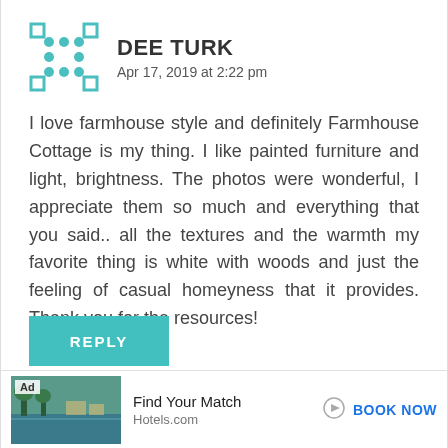[Figure (illustration): Teal/turquoise pixel avatar icon with a dice-like dot pattern]
DEE TURK
Apr 17, 2019 at 2:22 pm
I love farmhouse style and definitely Farmhouse Cottage is my thing. I like painted furniture and light, brightness. The photos were wonderful, I appreciate them so much and everything that you said.. all the textures and the warmth my favorite thing is white with woods and just the feeling of casual homeyness that it provides. Thank you for the resources!
REPLY
Ad  Find Your Match  Hotels.com  BOOK NOW